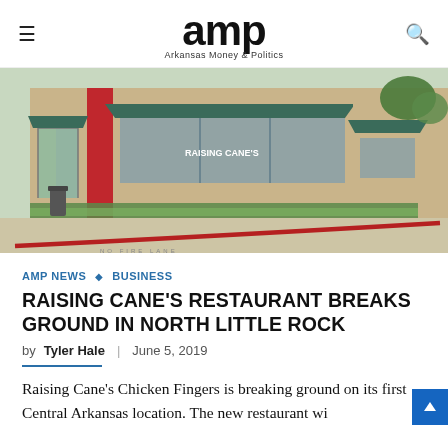amp — Arkansas Money & Politics
[Figure (photo): Exterior photo of a Raising Cane's Chicken Fingers restaurant building with tan stone facade, red accent pillars, dark green awnings, and a curved red stripe painted on the curb/sidewalk in the foreground.]
AMP NEWS ◇ BUSINESS
RAISING CANE'S RESTAURANT BREAKS GROUND IN NORTH LITTLE ROCK
by Tyler Hale  |  June 5, 2019
Raising Cane's Chicken Fingers is breaking ground on its first Central Arkansas location. The new restaurant wi